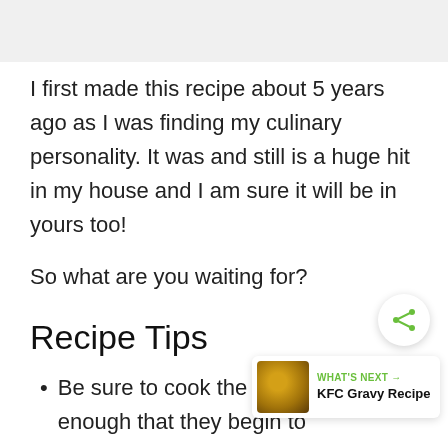[Figure (photo): Top image area (partially visible, light gray background)]
I first made this recipe about 5 years ago as I was finding my culinary personality. It was and still is a huge hit in my house and I am sure it will be in yours too!
So what are you waiting for?
Recipe Tips
Be sure to cook the onions long enough that they begin to caramelize. That's the key to their
[Figure (infographic): Share button icon (green share symbol on white circle) and 'What's Next' card with KFC Gravy Recipe thumbnail]